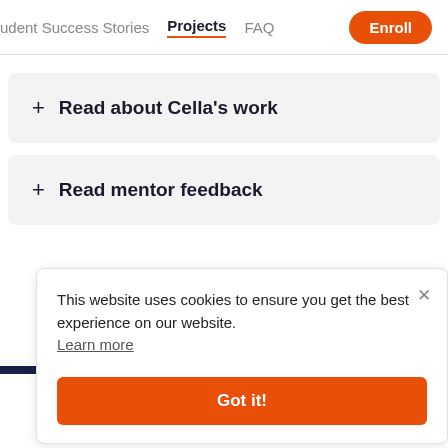udent Success Stories   Projects   FAQ   Enroll
+ Read about Cella's work
+ Read mentor feedback
This website uses cookies to ensure you get the best experience on our website. Learn more
Got it!